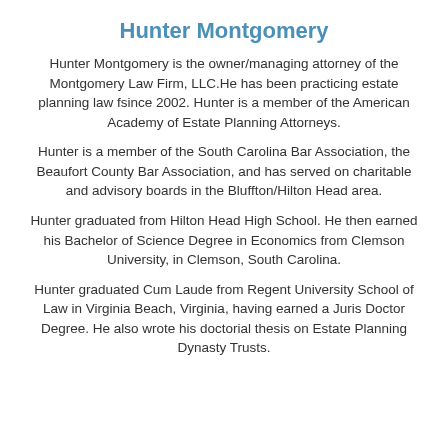Hunter Montgomery
Hunter Montgomery is the owner/managing attorney of the Montgomery Law Firm, LLC.He has been practicing estate planning law fsince 2002. Hunter is a member of the American Academy of Estate Planning Attorneys.
Hunter is a member of the South Carolina Bar Association, the Beaufort County Bar Association, and has served on charitable and advisory boards in the Bluffton/Hilton Head area.
Hunter graduated from Hilton Head High School. He then earned his Bachelor of Science Degree in Economics from Clemson University, in Clemson, South Carolina.
Hunter graduated Cum Laude from Regent University School of Law in Virginia Beach, Virginia, having earned a Juris Doctor Degree. He also wrote his doctorial thesis on Estate Planning Dynasty Trusts.